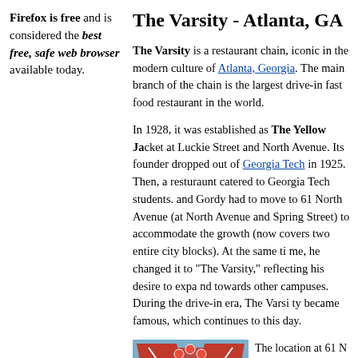Firefox is free and is considered the best free, safe web browser available today.
The Varsity - Atlanta, GA
The Varsity is a restaurant chain, iconic in the modern culture of Atlanta, Georgia. The main branch of the chain is the largest drive-in fast food restaurant in the world.
In 1928, it was established as The Yellow Jacket at Luckie Street and North Avenue. Its founder dropped out of Georgia Tech in 1925. Then, a resturaunt catered to Georgia Tech students. and Gordy had to move to 61 North Avenue (at North Avenue and Spring Street) to accommodate the growth (now covers two entire city blocks). At the same time, he changed it to "The Varsity," reflecting his desire to expand towards other campuses. During the drive-in era, The Varsity became famous, which continues to this day.
[Figure (photo): Photo of the Varsity restaurant sign - a large V-shaped red sign with the word VARSITY on it, on a pole against a sky background with bare trees]
The location at 61 N now adjacent to the interchange with No across the Connecto restaurant is connec not only by the Nor